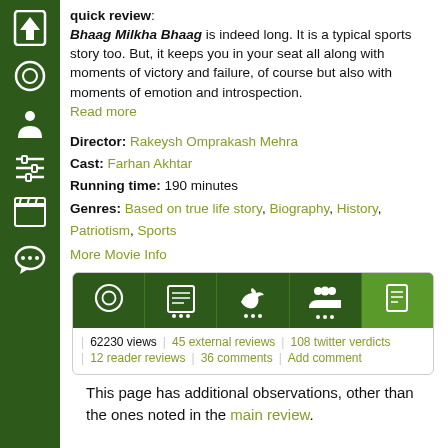[Figure (other): Dark green vertical sidebar with white icons: up arrow, circle, person, sliders, clapperboard, speech bubble]
quick review: Bhaag Milkha Bhaag is indeed long. It is a typical sports story too. But, it keeps you in your seat all along with moments of victory and failure, of course but also with moments of emotion and introspection. Read more
Director: Rakeysh Omprakash Mehra
Cast: Farhan Akhtar
Running time: 190 minutes
Genres: Based on true life story, Biography, History, Patriotism, Sports
More Movie Info
[Figure (screenshot): Stats bar with icons for views, external reviews, twitter, reader reviews, and comments tabs. Shows: 62230 views, 45 external reviews, 108 twitter verdicts, 12 reader reviews, 36 comments, Add comment]
This page has additional observations, other than the ones noted in the main review.